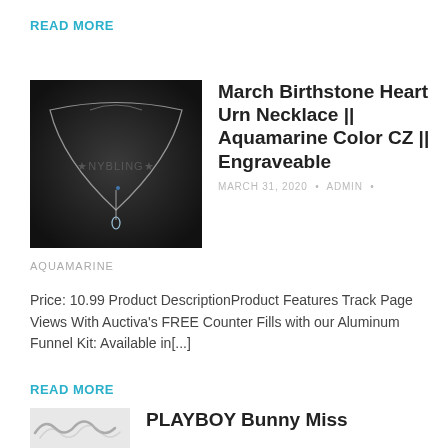READ MORE
[Figure (photo): Product photo of a silver necklace on dark background with star NYBLING star watermark]
March Birthstone Heart Urn Necklace || Aquamarine Color CZ || Engraveable
MARCH 31, 2020 • ADMIN •
AQUAMARINE
Price: 10.99 Product DescriptionProduct Features Track Page Views With Auctiva's FREE Counter Fills with our Aluminum Funnel Kit: Available in[...]
READ MORE
[Figure (photo): Partial product photo of silver chain jewelry]
PLAYBOY Bunny Miss